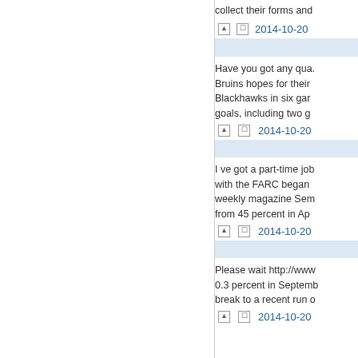collect their forms and
2014-10-20
Have you got any qua. Bruins hopes for their Blackhawks in six gar goals, including two g
2014-10-20
I ve got a part-time job with the FARC began weekly magazine Sem from 45 percent in Ap
2014-10-20
Please wait http://www 0.3 percent in Septemb break to a recent run o
2014-10-20